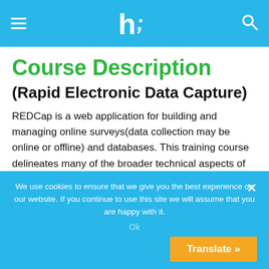ht [logo] | menu | search
Course Description
(Rapid Electronic Data Capture)
REDCap is a web application for building and managing online surveys(data collection may be online or offline) and databases. This training course delineates many of the broader technical aspects of REDCap, such as the REDcap specific terms and vocabulary, infrastructure and third
We use cookies to ensure that we give you the best experience on our website. If you continue to use this site we will assume that you are happy with it.
Ok
Translate »